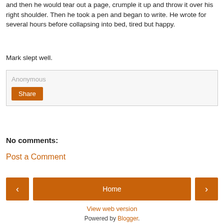and then he would tear out a page, crumple it up and throw it over his right shoulder. Then he took a pen and began to write. He wrote for several hours before collapsing into bed, tired but happy.
Mark slept well.
[Figure (screenshot): Comment input box with 'Anonymous' placeholder text and an orange 'Share' button]
No comments:
Post a Comment
[Figure (screenshot): Navigation bar with left arrow button, Home button, and right arrow button, all in orange]
View web version
Powered by Blogger.